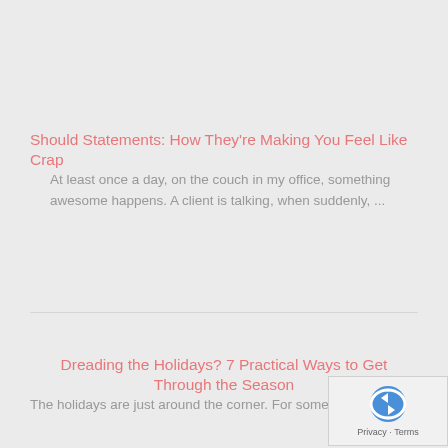Should Statements: How They're Making You Feel Like Crap
At least once a day, on the couch in my office, something awesome happens.  A client is talking, when suddenly, ...
Dreading the Holidays? 7 Practical Ways to Get Through the Season
The holidays are just around the corner.  For some people, the